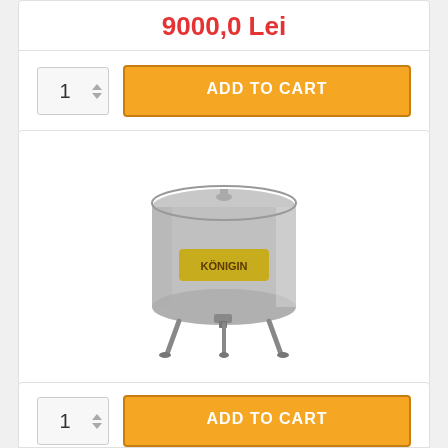9000,0 Lei
ADD TO CART
[Figure (photo): Stainless steel wax melter drum with legs and KÖNIGIN label, cylindrical with a tap at bottom]
Wax melter "Centrifuge" 640mm electric
28970,0 Lei
ADD TO CART